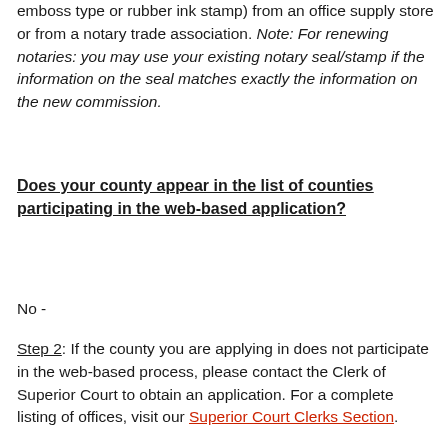emboss type or rubber ink stamp) from an office supply store or from a notary trade association. Note: For renewing notaries: you may use your existing notary seal/stamp if the information on the seal matches exactly the information on the new commission.
Does your county appear in the list of counties participating in the web-based application?
No -
Step 2: If the county you are applying in does not participate in the web-based process, please contact the Clerk of Superior Court to obtain an application. For a complete listing of offices, visit our Superior Court Clerks Section.